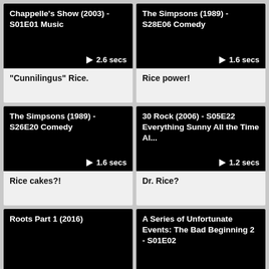[Figure (screenshot): Video thumbnail: Chappelle's Show (2003) - S01E01 Music, black screen, duration 2.6 secs]
"Cunnilingus" Rice.
[Figure (screenshot): Video thumbnail: The Simpsons (1989) - S28E06 Comedy, black screen, duration 1.6 secs]
Rice power!
[Figure (screenshot): Video thumbnail: The Simpsons (1989) - S26E20 Comedy, black screen, duration 1.6 secs]
Rice cakes?!
[Figure (screenshot): Video thumbnail: 30 Rock (2006) - S05E22 Everything Sunny All the Time Al..., black screen, duration 1.2 secs]
Dr. Rice?
[Figure (screenshot): Video thumbnail: Roots Part 1 (2016), black screen, partially visible]
[Figure (screenshot): Video thumbnail: A Series of Unfortunate Events: The Bad Beginning 2 - S01E02, black screen, partially visible]